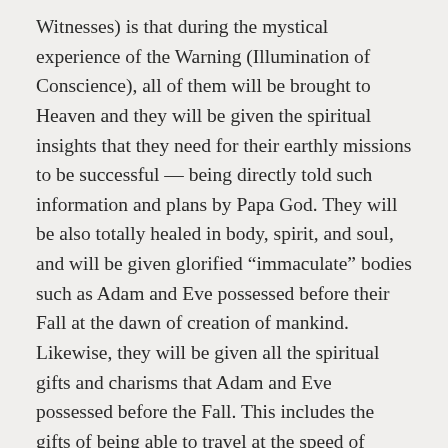Witnesses) is that during the mystical experience of the Warning (Illumination of Conscience), all of them will be brought to Heaven and they will be given the spiritual insights that they need for their earthly missions to be successful — being directly told such information and plans by Papa God. They will be also totally healed in body, spirit, and soul, and will be given glorified “immaculate” bodies such as Adam and Eve possessed before their Fall at the dawn of creation of mankind. Likewise, they will be given all the spiritual gifts and charisms that Adam and Eve possessed before the Fall. This includes the gifts of being able to travel at the speed of thought and being able to communicate telepathically with one another and with all holy beings of God. This also means that they will possess all the infused knowledge that God wills for them, including knowing multiple languages and knowing all the